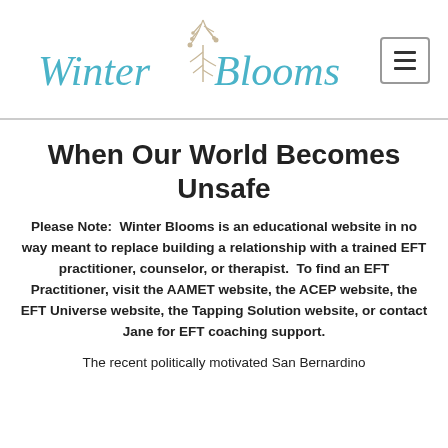[Figure (logo): Winter Blooms logo with stylized script text and a bare tree illustration in blue/teal tones]
When Our World Becomes Unsafe
Please Note:  Winter Blooms is an educational website in no way meant to replace building a relationship with a trained EFT practitioner, counselor, or therapist.  To find an EFT Practitioner, visit the AAMET website, the ACEP website, the EFT Universe website, the Tapping Solution website, or contact Jane for EFT coaching support.
The recent politically motivated San Bernardino